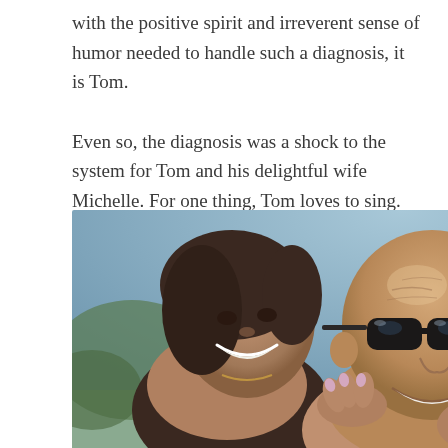with the positive spirit and irreverent sense of humor needed to handle such a diagnosis, it is Tom.

Even so, the diagnosis was a shock to the system for Tom and his delightful wife Michelle. For one thing, Tom loves to sing. Indeed, singing is part of his being.
[Figure (photo): A smiling couple outdoors. A woman with dark hair leans against a bald man wearing dark sunglasses, both smiling warmly in a sunny outdoor setting.]